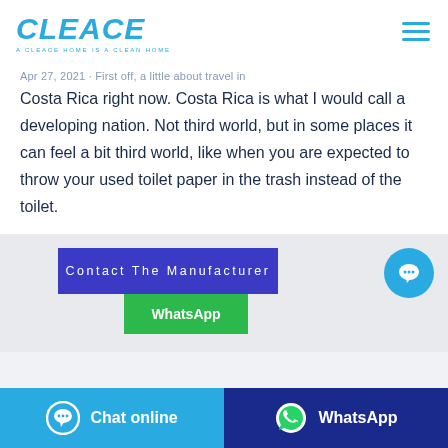CLEACE — A CLEACE HOME IS A CLEAN HOME
Apr 27, 2021 · First off, a little about travel in Costa Rica right now. Costa Rica is what I would call a developing nation. Not third world, but in some places it can feel a bit third world, like when you are expected to throw your used toilet paper in the trash instead of the toilet.
[Figure (screenshot): Contact The Manufacturer button (dark blue/purple) and WhatsApp button (green) and a cyan chat bubble circle icon]
[Figure (screenshot): Bottom bar with two buttons: Chat online (cyan) and WhatsApp (dark blue)]